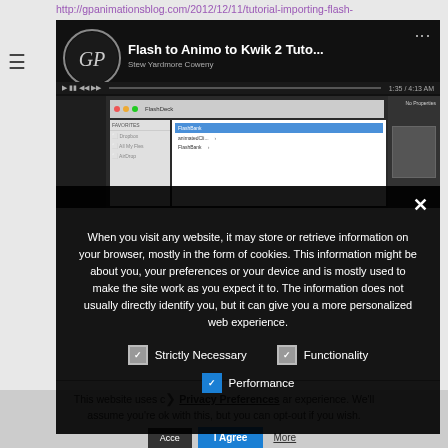http://gpanimationsblog.com/2012/12/11/tutorial-importing-flash-animations-into-kwik-2/):
[Figure (screenshot): YouTube video thumbnail showing 'Flash to Animo to Kwik 2 Tuto...' with a GP logo circle and a screen recording of Flash software interface]
When you visit any website, it may store or retrieve information on your browser, mostly in the form of cookies. This information might be about you, your preferences or your device and is mostly used to make the site work as you expect it to. The information does not usually directly identify you, but it can give you a more personalized web experience.
Strictly Necessary
Functionality
Performance
This website uses cookies to improve your experience. We'll assume you're ok with this, but you can opt-out if you wish.
Privacy Preferences
I Agree
Accept    More